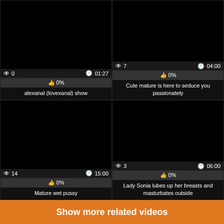[Figure (screenshot): Video thumbnail black for alexanal (lovexanal) show, 0 views, 01:27 duration, 0% likes]
[Figure (screenshot): Video thumbnail black for Cute mature is here to seduce you passionately, 7 views, 04:00 duration, 0% likes]
[Figure (screenshot): Video thumbnail black for Mature wet pussy, 14 views, 15:00 duration, 0% likes]
[Figure (screenshot): Video thumbnail black for Lady Sonia lubes up her breasts and masturbates outside, 3 views, 06:00 duration, 0% likes]
Show more related videos